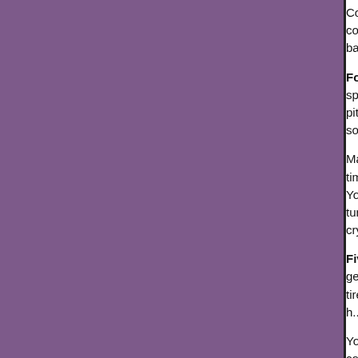Continue to talk to your baby as much as possible and read him stories. The more you communicate, the more he knows that you are listening the more he will try to communicate back to you.
Four months: Your baby is learning more about communicating with you. He will be smiling spontaneously and his soft babbling will have an almost singsong quality. He'll use a high pitch that delights him as he learns to control his voice. There will be lots of repetition to the sounds he makes.
Make sure that you respond to your baby's cues and your own voice tones. This is your "chat time" with him so take advantage of these chatty times as he's learning what it's all about. Your baby may also be starting to tell you he's not in the mood for talking with you. He will turn away from you and may put his arm over his face. He may express his frustration by crying out, especially if someone talks too much.
Five months: Your baby is becoming better at communicating start to mimic sounds and gestures which helps him express his needs. He'll be able to let you know if he's hungry or tired. If wants attention he'll start to babble until you respond. He will respond to his cooing, laughing sounds he makes intentionally because he knows that he can get your attention with these.
Your baby will now be watching your mouth more carefully. Call him from across the room he'll be able to move his tongue trying to control his vocal sounds as watches you.